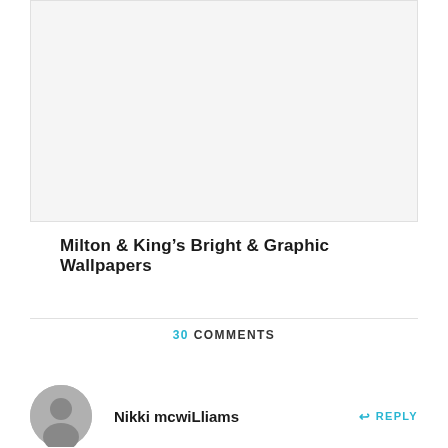[Figure (photo): Blank/placeholder image area at the top of the page]
Milton & King's Bright & Graphic Wallpapers
30 COMMENTS
Nikki mcwiLliams
REPLY